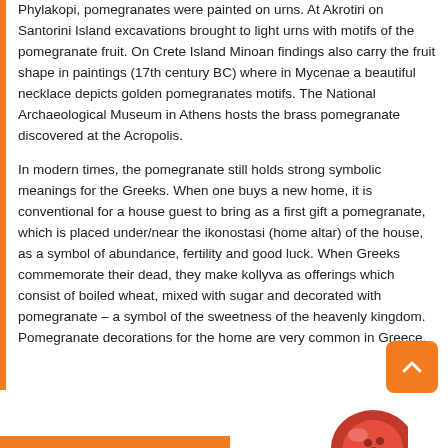Phylakopi, pomegranates were painted on urns. At Akrotiri on Santorini Island excavations brought to light urns with motifs of the pomegranate fruit. On Crete Island Minoan findings also carry the fruit shape in paintings (17th century BC) where in Mycenae a beautiful necklace depicts golden pomegranates motifs. The National Archaeological Museum in Athens hosts the brass pomegranate discovered at the Acropolis.
In modern times, the pomegranate still holds strong symbolic meanings for the Greeks. When one buys a new home, it is conventional for a house guest to bring as a first gift a pomegranate, which is placed under/near the ikonostasi (home altar) of the house, as a symbol of abundance, fertility and good luck. When Greeks commemorate their dead, they make kollyva as offerings which consist of boiled wheat, mixed with sugar and decorated with pomegranate – a symbol of the sweetness of the heavenly kingdom. Pomegranate decorations for the home are very common in Greece.
[Figure (illustration): Partial image of a pomegranate fruit visible at bottom right corner of the page]